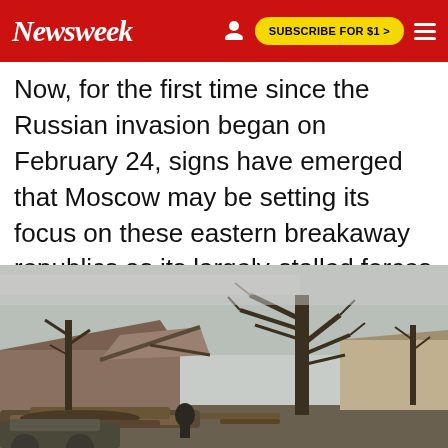Newsweek | SUBSCRIBE FOR $1 >
Now, for the first time since the Russian invasion began on February 24, signs have emerged that Moscow may be setting its focus on these eastern breakaway republics as its largely-stalled forces turn back their advance on the Ukrainian capital.
[Figure (photo): Photograph of war damage in Ukraine: destroyed building with collapsed roof, bare winter trees, and debris including felled logs, photographed in a residential area with overcast sky.]